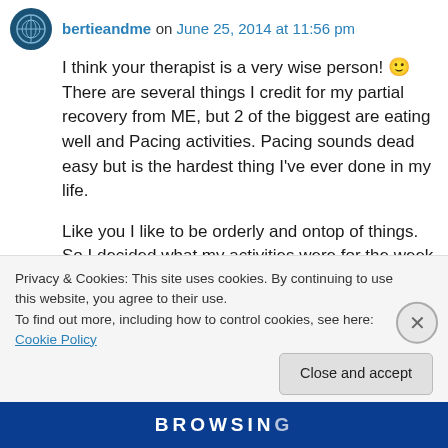bertieandme on June 25, 2014 at 11:56 pm
I think your therapist is a very wise person! 🙂 There are several things I credit for my partial recovery from ME, but 2 of the biggest are eating well and Pacing activities. Pacing sounds dead easy but is the hardest thing I've ever done in my life.
Like you I like to be orderly and ontop of things. So I decided what my activities were for the week and made up a schedule. I was allowed a
Privacy & Cookies: This site uses cookies. By continuing to use this website, you agree to their use.
To find out more, including how to control cookies, see here: Cookie Policy